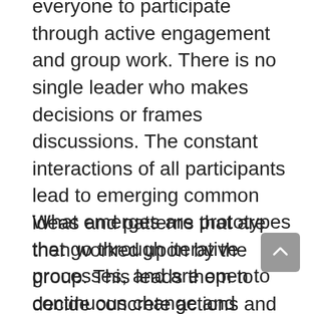everyone to participate through active engagement and group work. There is no single leader who makes decisions or frames discussions. The constant interactions of all participants lead to emerging common ideas and patterns that are then worked upon by the group. This leads them to decide concrete actions and steps that can be implemented and refined.
What emerges are prototypes that go through iterative processes, and are open to continuous change and improvement based on feedback. Concrete outputs and outcomes cannot be promised ahead of time since no one knows what can emerge from the deep conversations, connections and interactions of